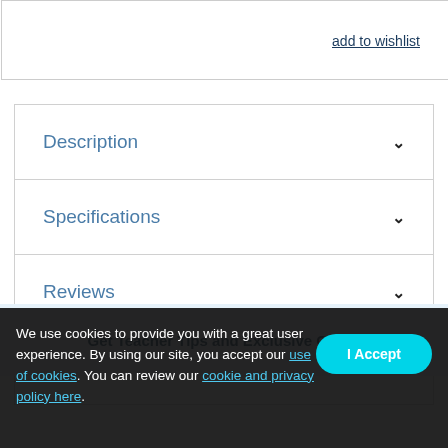add to wishlist
Description
Specifications
Reviews
Questions & Answers
Get Teacher Tips and Exclusive Offers
We use cookies to provide you with a great user experience. By using our site, you accept our use of cookies. You can review our cookie and privacy policy here.